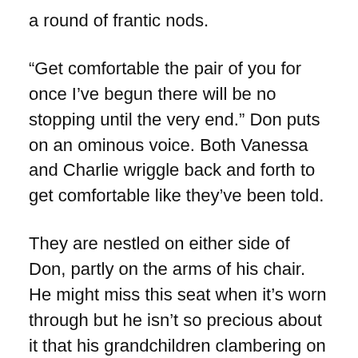a round of frantic nods.
“Get comfortable the pair of you for once I’ve begun there will be no stopping until the very end.” Don puts on an ominous voice. Both Vanessa and Charlie wriggle back and forth to get comfortable like they’ve been told.
They are nestled on either side of Don, partly on the arms of his chair. He might miss this seat when it’s worn through but he isn’t so precious about it that his grandchildren clambering on it he finds to be an issue. Eleanor would’ve passed comment about that being the purpose of the sofa. Yet ultimately she would’ve relented while continuing to cook her way through the morning, assuring the grandchildren that she is listening from the kitchen. And it would be true, Eleanor would indeed listen to every word her husband